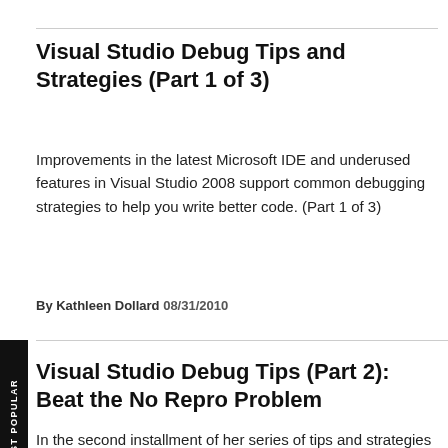Visual Studio Debug Tips and Strategies (Part 1 of 3)
Improvements in the latest Microsoft IDE and underused features in Visual Studio 2008 support common debugging strategies to help you write better code. (Part 1 of 3)
By Kathleen Dollard 08/31/2010
Visual Studio Debug Tips (Part 2): Beat the No Repro Problem
In the second installment of her series of tips and strategies for debugging code in Visual Studio, Kathleen Dollard looks into valuable resources like the